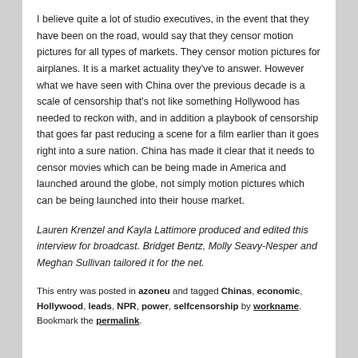I believe quite a lot of studio executives, in the event that they have been on the road, would say that they censor motion pictures for all types of markets. They censor motion pictures for airplanes. It is a market actuality they've to answer. However what we have seen with China over the previous decade is a scale of censorship that's not like something Hollywood has needed to reckon with, and in addition a playbook of censorship that goes far past reducing a scene for a film earlier than it goes right into a sure nation. China has made it clear that it needs to censor movies which can be being made in America and launched around the globe, not simply motion pictures which can be being launched into their house market.
Lauren Krenzel and Kayla Lattimore produced and edited this interview for broadcast. Bridget Bentz, Molly Seavy-Nesper and Meghan Sullivan tailored it for the net.
This entry was posted in azoneu and tagged Chinas, economic, Hollywood, leads, NPR, power, selfcensorship by workname. Bookmark the permalink.